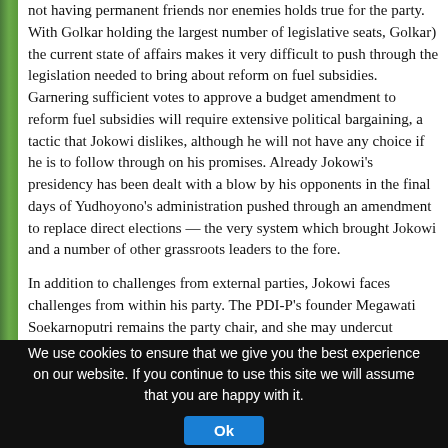not having permanent friends nor enemies holds true for the party. With Golkar holding the largest number of legislative seats, Golkar) the current state of affairs makes it very difficult to push through the legislation needed to bring about reform on fuel subsidies. Garnering sufficient votes to approve a budget amendment to reform fuel subsidies will require extensive political bargaining, a tactic that Jokowi dislikes, although he will not have any choice if he is to follow through on his promises. Already Jokowi's presidency has been dealt with a blow by his opponents in the final days of Yudhoyono's administration pushed through an amendment to replace direct elections — the very system which brought Jokowi and a number of other grassroots leaders to the fore.

In addition to challenges from external parties, Jokowi faces challenges from within his party. The PDI-P's founder Megawati Soekarnoputri remains the party chair, and she may undercut Jokowi's leadership of the country, should she opt to disagree with his policies. Megawati was notably absent for much of the campaign season and affirmed Jokowi's candidacy only at the eleventh hour. Contradicting signals about who would determine the composition of the cabinet emerged with Megawati saying that her input will play a large role, while Jokowi said that no one but he determines who becomes a minister (the final composition of the cabinet showed only one or two). While such contradictions may not appear unusual in other contexts, in Indonesia open disagreement is a sign of weakness and raises concerns about Jokowi's ability to exercise leadership — if he is unable to secure the committed support of his own party, can he hope to gain the wider political support that he will n
We use cookies to ensure that we give you the best experience on our website. If you continue to use this site we will assume that you are happy with it.